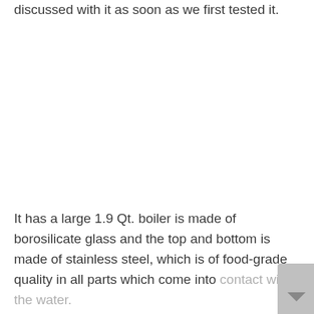discussed with it as soon as we first tested it.
It has a large 1.9 Qt. boiler is made of borosilicate glass and the top and bottom is made of stainless steel, which is of food-grade quality in all parts which come into contact with the water.